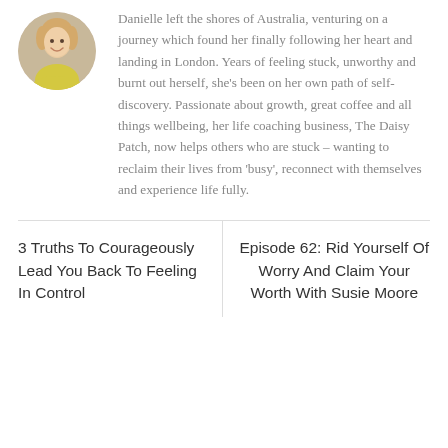[Figure (photo): Circular portrait photo of a smiling blonde woman wearing a yellow top]
Danielle left the shores of Australia, venturing on a journey which found her finally following her heart and landing in London. Years of feeling stuck, unworthy and burnt out herself, she's been on her own path of self-discovery. Passionate about growth, great coffee and all things wellbeing, her life coaching business, The Daisy Patch, now helps others who are stuck – wanting to reclaim their lives from 'busy', reconnect with themselves and experience life fully.
3 Truths To Courageously Lead You Back To Feeling In Control
Episode 62: Rid Yourself Of Worry And Claim Your Worth With Susie Moore